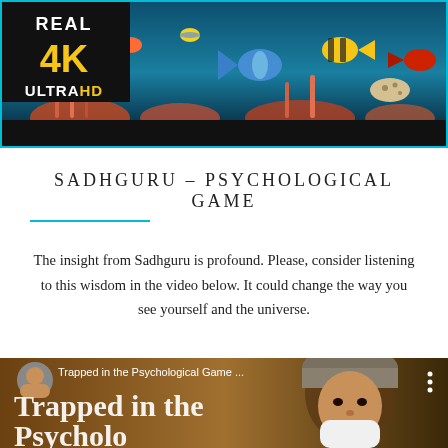[Figure (screenshot): Top banner showing a coral reef aquarium scene with tropical fish in vibrant colors. Bottom-left corner shows a black box with 'REAL 4K ULTRA HD' text in gold/yellow. The banner has a cyan/turquoise border. Below the image is a black bar.]
SADHGURU – PSYCHOLOGICAL GAME
The insight from Sadhguru is profound. Please, consider listening to this wisdom in the video below. It could change the way you see yourself and the universe.
[Figure (screenshot): Video thumbnail showing a man with a white beard and turban (Sadhguru) on a golden/brown background. Text overlay reads 'Trapped in the Psychological Game...' in white, and large text below reads 'Trapped in the' with partial text below. A circular profile icon and vertical dots menu icon are visible at top.]